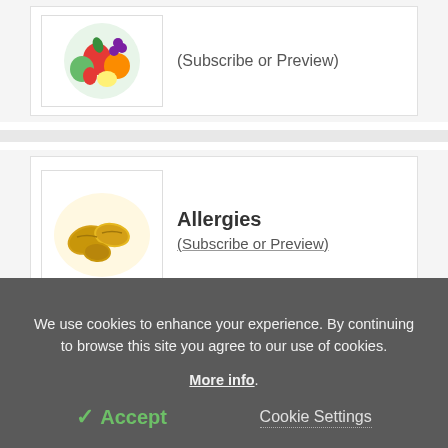(Subscribe or Preview)
Allergies
(Subscribe or Preview)
See all Newsletters »
[Figure (logo): HON logo - red background with white HON text]
[Figure (logo): Blue hexagonal badge with number 15]
[Figure (logo): TRUSTe logo with green bar and text]
We use cookies to enhance your experience. By continuing to browse this site you agree to our use of cookies. More info.
✓ Accept
Cookie Settings